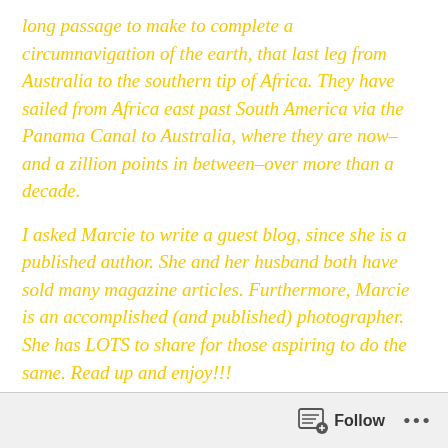long passage to make to complete a circumnavigation of the earth,  that last leg from Australia to the southern tip of Africa. They have sailed from Africa east past South America via the Panama Canal to Australia, where they are now–and a zillion points in between–over more than a decade.
I asked Marcie to write a guest blog, since she is a published author. She and her husband both have sold many magazine articles. Furthermore, Marcie is an accomplished (and published) photographer. She has LOTS to share for those aspiring to do the same. Read up and enjoy!!!
I must have at least four books in the works at the